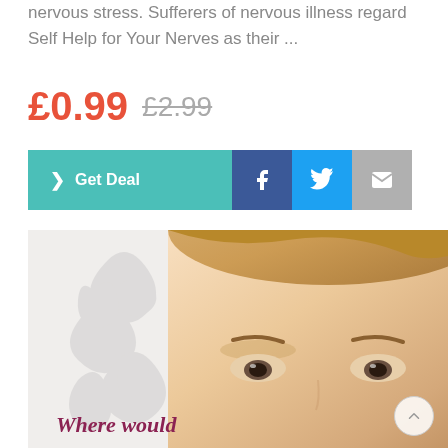nervous stress. Sufferers of nervous illness regard Self Help for Your Nerves as their ...
£0.99 £2.99
[Figure (screenshot): Row of buttons: teal 'Get Deal' button, Facebook share button, Twitter share button, email share button]
[Figure (photo): Book cover showing close-up of a person's face (forehead and eyes visible) with decorative floral scroll on the left half. Text 'Where would' visible at the bottom left in dark red italic font.]